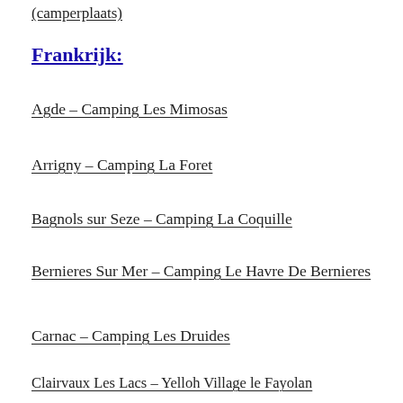(camperplaats)
Frankrijk:
Agde – Camping Les Mimosas
Arrigny – Camping La Foret
Bagnols sur Seze – Camping La Coquille
Bernieres Sur Mer – Camping Le Havre De Bernieres
Carnac – Camping Les Druides
Clairvaux Les Lacs – Yelloh Village le Fayolan
Courtils – Camping Saint Michel